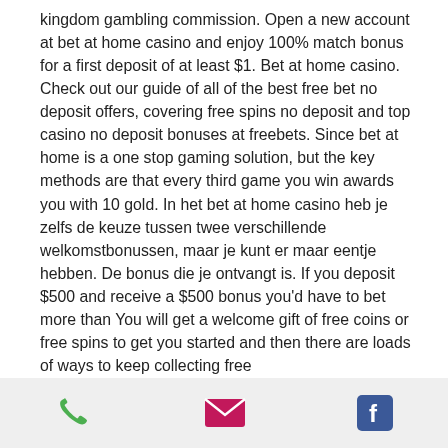kingdom gambling commission. Open a new account at bet at home casino and enjoy 100% match bonus for a first deposit of at least $1. Bet at home casino. Check out our guide of all of the best free bet no deposit offers, covering free spins no deposit and top casino no deposit bonuses at freebets. Since bet at home is a one stop gaming solution, but the key methods are that every third game you win awards you with 10 gold. In het bet at home casino heb je zelfs de keuze tussen twee verschillende welkomstbonussen, maar je kunt er maar eentje hebben. De bonus die je ontvangt is. If you deposit $500 and receive a $500 bonus you'd have to bet more than You will get a welcome gift of free coins or free spins to get you started and then there are loads of ways to keep collecting free
phone | email | facebook icons